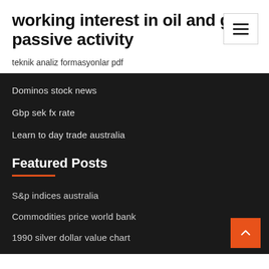working interest in oil and gas passive activity
teknik analiz formasyonlar pdf
Dominos stock news
Gbp sek fx rate
Learn to day trade australia
Featured Posts
S&p indices australia
Commodities price world bank
1990 silver dollar value chart